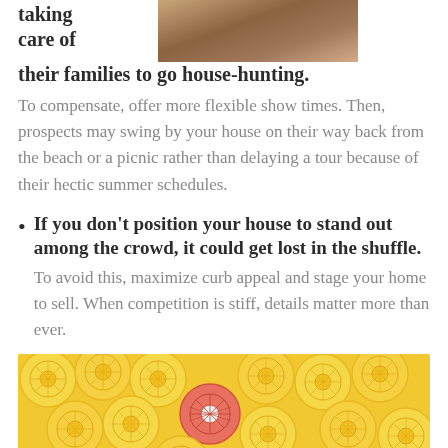taking care of
[Figure (photo): Photo of hands on a wooden table, partially visible at top right of page]
their families to go house-hunting. To compensate, offer more flexible show times. Then, prospects may swing by your house on their way back from the beach or a picnic rather than delaying a tour because of their hectic summer schedules.
If you don't position your house to stand out among the crowd, it could get lost in the shuffle. To avoid this, maximize curb appeal and stage your home to sell. When competition is stiff, details matter more than ever.
[Figure (photo): Photo of many yellow lemon slices arranged together with one pink grapefruit slice standing out among them]